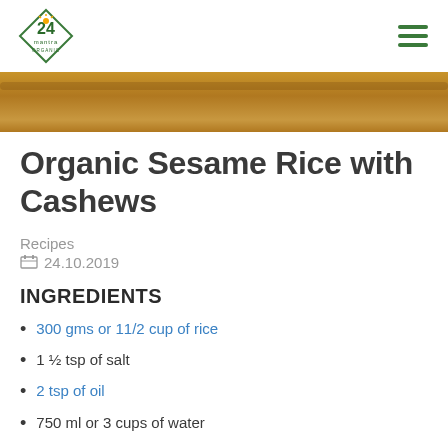24 Mantra Organic — navigation header with logo and hamburger menu
[Figure (photo): Close-up photo of wooden/cinnamon surface in warm brown tones]
Organic Sesame Rice with Cashews
Recipes
24.10.2019
INGREDIENTS
300 gms or 11/2 cup of rice
1 ½ tsp of salt
2 tsp of oil
750 ml or 3 cups of water
50 gms or 1/3 of sesame seeds